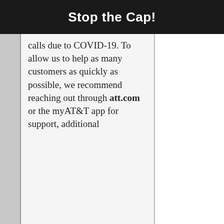Stop the Cap!
calls due to COVID-19. To allow us to help as many customers as quickly as possible, we recommend reaching out through att.com or the myAT&T app for support, additional